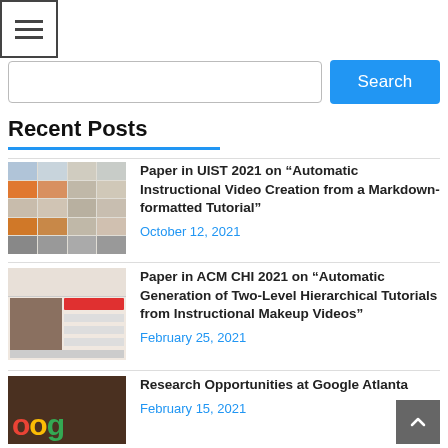Navigation menu (hamburger icon) and search bar with Search button
Recent Posts
Paper in UIST 2021 on “Automatic Instructional Video Creation from a Markdown-formatted Tutorial” — October 12, 2021
Paper in ACM CHI 2021 on “Automatic Generation of Two-Level Hierarchical Tutorials from Instructional Makeup Videos” — February 25, 2021
Research Opportunities at Google Atlanta — February 15, 2021